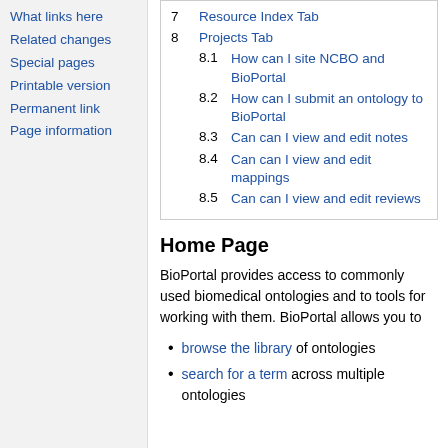What links here
Related changes
Special pages
Printable version
Permanent link
Page information
7  Resource Index Tab
8  Projects Tab
8.1  How can I site NCBO and BioPortal
8.2  How can I submit an ontology to BioPortal
8.3  Can can I view and edit notes
8.4  Can can I view and edit mappings
8.5  Can can I view and edit reviews
Home Page
BioPortal provides access to commonly used biomedical ontologies and to tools for working with them. BioPortal allows you to
browse the library of ontologies
search for a term across multiple ontologies